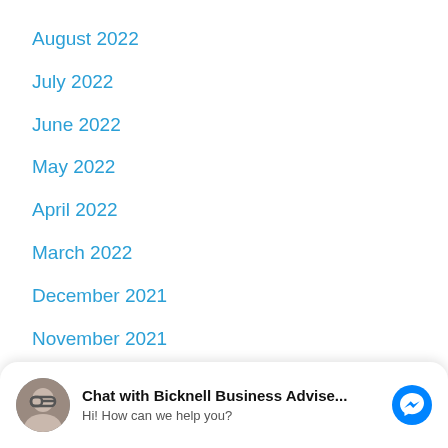August 2022
July 2022
June 2022
May 2022
April 2022
March 2022
December 2021
November 2021
October 2021
September 2021
August 2021
[Figure (screenshot): Chat widget overlay: avatar photo of a person with glasses, text 'Chat with Bicknell Business Advise...' in bold, subtext 'Hi! How can we help you?', and a blue Facebook Messenger icon button.]
June 2021